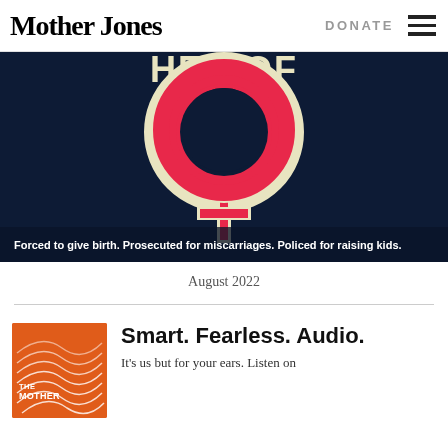Mother Jones | DONATE
[Figure (illustration): Dark navy blue background with a large pink female symbol (Venus symbol) with cream/yellow outline. Partial text 'HER OF' visible at top. Caption at bottom reads: 'Forced to give birth. Prosecuted for miscarriages. Policed for raising kids.']
Forced to give birth. Prosecuted for miscarriages. Policed for raising kids.
August 2022
[Figure (logo): Orange square podcast thumbnail with white wave lines and text 'THE MOTHER' visible]
Smart. Fearless. Audio.
It's us but for your ears. Listen on